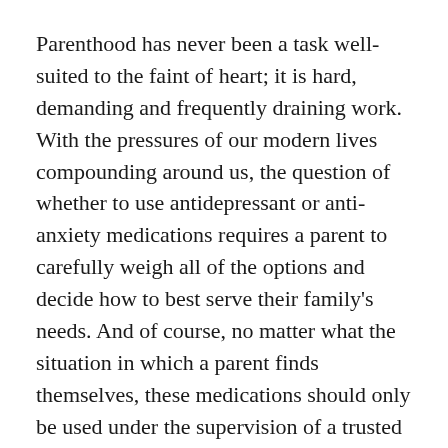Parenthood has never been a task well-suited to the faint of heart; it is hard, demanding and frequently draining work. With the pressures of our modern lives compounding around us, the question of whether to use antidepressant or anti-anxiety medications requires a parent to carefully weigh all of the options and decide how to best serve their family's needs. And of course, no matter what the situation in which a parent finds themselves, these medications should only be used under the supervision of a trusted doctor.
About the Editors: The Shapiro, Lewis, Appleton and Favaloro personal injury law firm, whose attorneys work out of offices in Virginia (VA) and